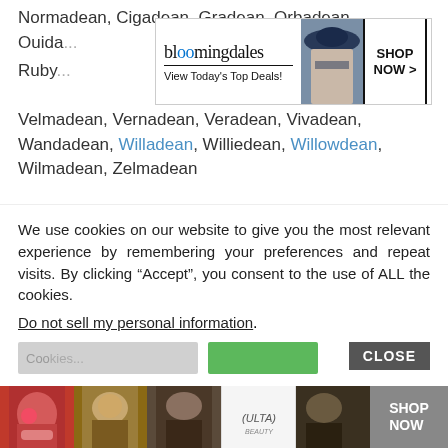Normadean, Cigadean, Gradean, Orbadean, Ouida..., Ruby...
[Figure (advertisement): Bloomingdale's ad banner: logo with 'View Today's Top Deals!' tagline, model in hat, SHOP NOW button]
Velmadean, Vernadean, Veradean, Vivadean, Wandadean, Willadean, Williedean, Willowdean, Wilmadean, Zelmadean
-Dell(e)
Abbiedell, Adadell, Alicedell, Annadell, Anniedell,
We use cookies on our website to give you the most relevant experience by remembering your preferences and repeat visits. By clicking “Accept”, you consent to the use of ALL the cookies.
Do not sell my personal information.
[Figure (advertisement): ULTA beauty bottom ad banner with makeup model photos and SHOP NOW button]